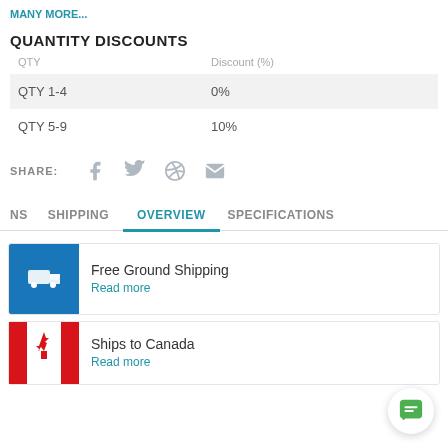MANY MORE...
QUANTITY DISCOUNTS
| QTY | Discount (%) |
| --- | --- |
| QTY 1-4 | 0% |
| QTY 5-9 | 10% |
SHARE: [Facebook] [Twitter] [Pinterest] [Email]
NS  SHIPPING  OVERVIEW  SPECIFICATIONS
Free Ground Shipping
Read more
Ships to Canada
Read more